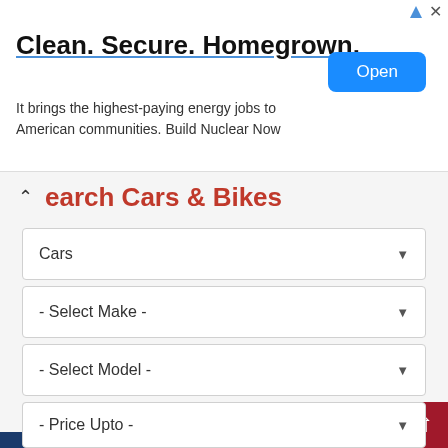[Figure (screenshot): Advertisement banner: 'Clean. Secure. Homegrown.' with Open button and body text about highest-paying energy jobs]
earch Cars & Bikes
Cars
- Select Make -
- Select Model -
- Select Version -
- Price Upto -